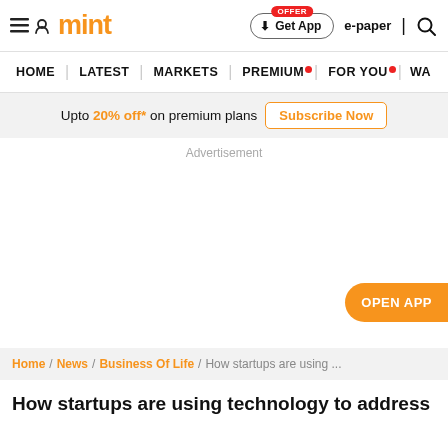mint | Get App | e-paper
HOME | LATEST | MARKETS | PREMIUM | FOR YOU | WA
Upto 20% off* on premium plans  Subscribe Now
Advertisement
OPEN APP
Home / News / Business Of Life / How startups are using ...
How startups are using technology to address